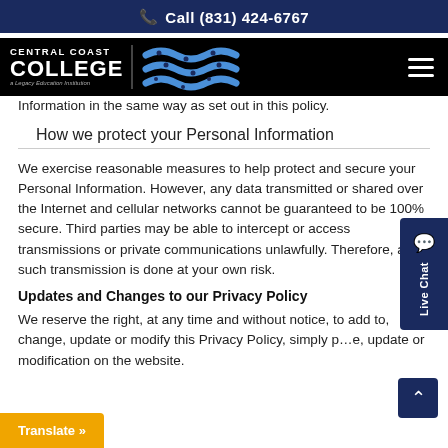Call (831) 424-6767
[Figure (logo): Central Coast College logo with wave graphic on black background]
Information in the same way as set out in this policy.
How we protect your Personal Information
We exercise reasonable measures to help protect and secure your Personal Information. However, any data transmitted or shared over the Internet and cellular networks cannot be guaranteed to be 100% secure. Third parties may be able to intercept or access transmissions or private communications unlawfully. Therefore, any such transmission is done at your own risk.
Updates and Changes to our Privacy Policy
We reserve the right, at any time and without notice, to add to, change, update or modify this Privacy Policy, simply p... e, update or modification on the website.